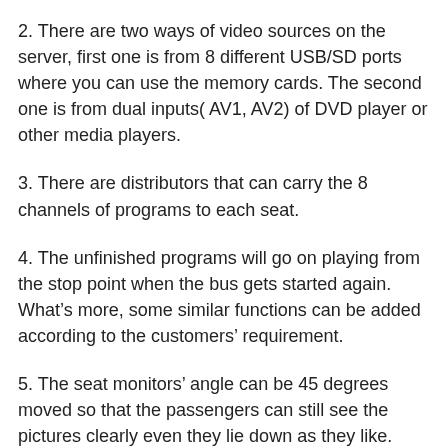2. There are two ways of video sources on the server, first one is from 8 different USB/SD ports where you can use the memory cards. The second one is from dual inputs( AV1, AV2) of DVD player or other media players.
3. There are distributors that can carry the 8 channels of programs to each seat.
4. The unfinished programs will go on playing from the stop point when the bus gets started again. What's more, some similar functions can be added according to the customers' requirement.
5. The seat monitors' angle can be 45 degrees moved so that the passengers can still see the pictures clearly even they lie down as they like.